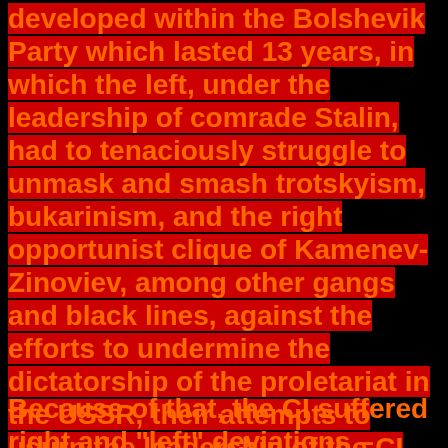developed within the Bolshevik Party which lasted 13 years, in which the left, under the leadership of comrade Stalin, had to tenaciously struggle to unmask and smash trotskyism, bukarinism, and the right opportunist clique of Kamenev-Zinoviev, among other gangs and black lines, against the efforts to undermine the dictatorship of the proletariat in the USSR, their attempts to usurp the leadership of the CI and controlling apparatuses to impose their policies n many sections – nefarious actions that caused grave harm.
Because of that, the CI suffered right and "left" deviations – particularly within the